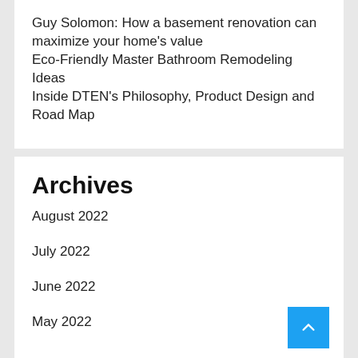Guy Solomon: How a basement renovation can maximize your home's value
Eco-Friendly Master Bathroom Remodeling Ideas
Inside DTEN's Philosophy, Product Design and Road Map
Archives
August 2022
July 2022
June 2022
May 2022